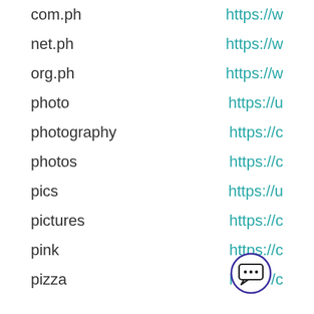com.ph	https://w
net.ph	https://w
org.ph	https://w
photo	https://u
photography	https://c
photos	https://c
pics	https://u
pictures	https://c
pink	https://c
pizza	https://c